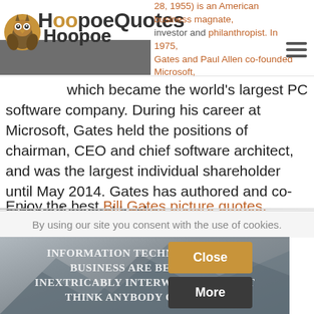[Figure (logo): HoopoeQuotes logo with owl icon and text]
28, 1955) is an American business magnate, investor and philanthropist. In 1975, Gates and Paul Allen co-founded Microsoft, which became the world's largest PC software company. During his career at Microsoft, Gates held the positions of chairman, CEO and chief software architect, and was the largest individual shareholder until May 2014. Gates has authored and co-authored several books.
Enjoy the best Bill Gates picture quotes.
Read more about Bill Gates on Wikipedia.
By using our site you consent with the use of cookies.
[Figure (screenshot): Partial screenshot of a Bill Gates quote image with overlaid Close and More buttons]